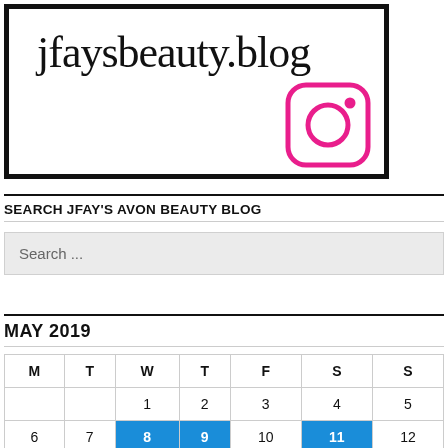[Figure (logo): jfaysbeauty.blog logo in a black-bordered box with an Instagram icon in pink]
SEARCH JFAY'S AVON BEAUTY BLOG
Search ...
MAY 2019
| M | T | W | T | F | S | S |
| --- | --- | --- | --- | --- | --- | --- |
|  |  | 1 | 2 | 3 | 4 | 5 |
| 6 | 7 | 8 | 9 | 10 | 11 | 12 |